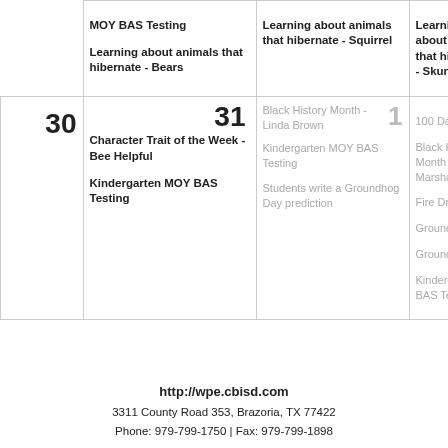|  | MOY BAS Testing / Learning about animals that hibernate - Bears | Learning about animals that hibernate - Squirrel | Learning about animals that hibernate - Skunk |
| --- | --- | --- | --- |
|  | MOY BAS Testing

Learning about animals that hibernate - Bears | Learning about animals that hibernate - Squirrel | Learning about animals that hibernate - Skunk |
| 30 | Character Trait of the Week - Bee Helpful

Kindergarten MOY BAS Testing | 31  Black History Month - Linda Brown

Kindergarten MOY BAS Testing

Students write a Groundhog Day prediction | 1  100 Day

Black History Month - Marshall

Fire Drill

Groundhog

Groundhog

Kindergarten BAS Testing |
http://wpe.cbisd.com
3311 County Road 353, Brazoria, TX 77422
Phone: 979-799-1750 | Fax: 979-799-1898